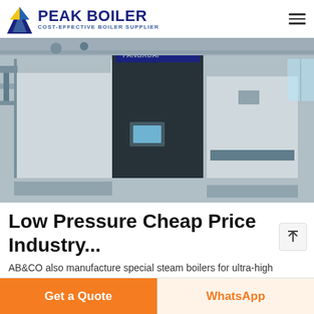PEAK BOILER — COST-EFFECTIVE BOILER SUPPLIER
[Figure (photo): Industrial steam boilers in a facility — large white and dark-blue modular boiler units with control panels, pipes, and industrial surroundings. Text 'FANGXUAI' visible on unit.]
Low Pressure Cheap Price Industry...
AB&CO also manufacture special steam boilers for ultra-high pressure steam : 120 bar Steam Boiler for a research institute in Switzerland. INTRODUCTION. SURVEY - TYPE DH2. Large...